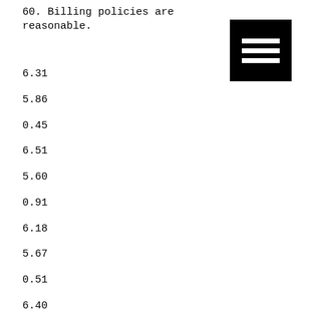60. Billing policies are reasonable.
[Figure (other): Menu/hamburger icon — three horizontal white lines on black square background]
6.31
5.86
0.45
6.51
5.60
0.91
6.18
5.67
0.51
6.40
6.27
0.13
6.67
5.21